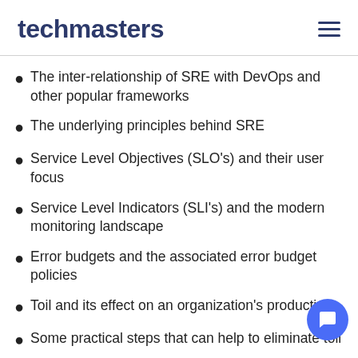techmasters
The inter-relationship of SRE with DevOps and other popular frameworks
The underlying principles behind SRE
Service Level Objectives (SLO's) and their user focus
Service Level Indicators (SLI's) and the modern monitoring landscape
Error budgets and the associated error budget policies
Toil and its effect on an organization's productivity
Some practical steps that can help to eliminate toil
Observability as something to indicate the health of a